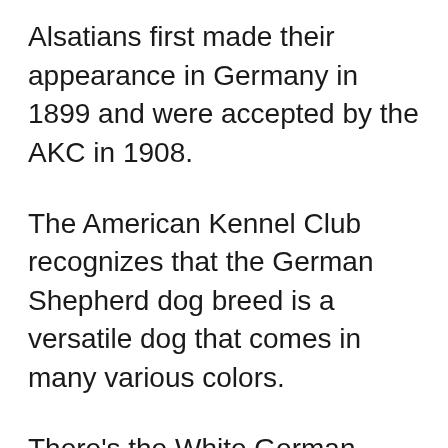Alsatians first made their appearance in Germany in 1899 and were accepted by the AKC in 1908.
The American Kennel Club recognizes that the German Shepherd dog breed is a versatile dog that comes in many various colors.
There's the White German Shepherd and other color patterns such as the Panda, but they treasure the Black and Tans or Black and Reds in show lines. Sable colored dogs have a more